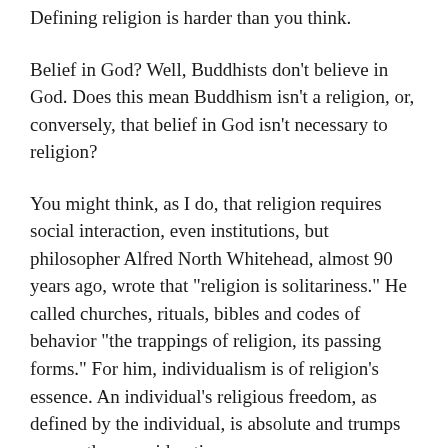Defining religion is harder than you think.
Belief in God? Well, Buddhists don't believe in God. Does this mean Buddhism isn't a religion, or, conversely, that belief in God isn't necessary to religion?
You might think, as I do, that religion requires social interaction, even institutions, but philosopher Alfred North Whitehead, almost 90 years ago, wrote that "religion is solitariness." He called churches, rituals, bibles and codes of behavior "the trappings of religion, its passing forms." For him, individualism is of religion's essence. An individual's religious freedom, as defined by the individual, is absolute and trumps every other consideration.
Whatever your working definition of religion, it is probably influenced by the media — as much by how they report as by what. In recent years, the impression left by the